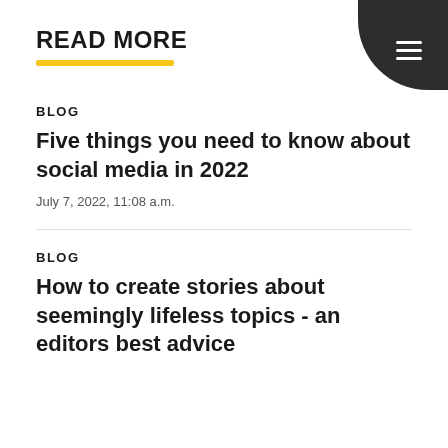[Figure (other): Dark rounded hamburger menu button in top-right corner with three horizontal white lines]
READ MORE
BLOG
Five things you need to know about social media in 2022
July 7, 2022, 11:08 a.m.
BLOG
How to create stories about seemingly lifeless topics - an editors best advice